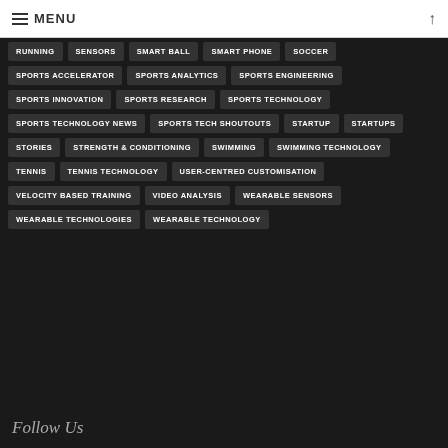MENU
RUNNING
SENSORS
SMART BALL
SMART PHONE
SOCCER
SPORTS ACCELERATOR
SPORTS ANALYTICS
SPORTS ENGINEERING
SPORTS INNOVATION
SPORTS RESEARCH
SPORTS TECHNOLOGY
SPORTS TECHNOLOGY NEWS
SPORTS TECH SHOUTOUTS
STARTUP
STARTUPS
STORIES
STRENGTH & CONDITIONING
SWIMMING
SWIMMING TECHNOLOGY
TENNIS
TENNIS TECHNOLOGY
USER-CENTRED CUSTOMISATION
VELOCITY BASED TRAINING
VIDEO ANALYSIS
WEARABLE SENSORS
WEARABLE TECHNOLOGIES
WEARABLE TECHNOLOGY
Follow Us